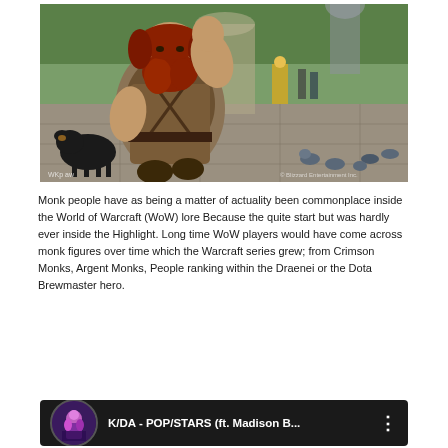[Figure (illustration): Fantasy illustration of a large dwarf-like warrior with red beard and brown leather armor, crouching near a black dog, with pigeons on stone ground, a person in yellow robe visible in background, lush greenery, stone architecture. Watermark: 'Blizzard Entertainment Inc.']
Monk people have as being a matter of actuality been commonplace inside the World of Warcraft (WoW) lore Because the quite start but was hardly ever inside the Highlight. Long time WoW players would have come across monk figures over time which the Warcraft series grew; from Crimson Monks, Argent Monks, People ranking within the Draenei or the Dota Brewmaster hero.
[Figure (screenshot): YouTube video bar showing thumbnail of K/DA character (purple/pink anime-style), title 'K/DA - POP/STARS (ft. Madison B...' with three-dot menu icon, dark background.]